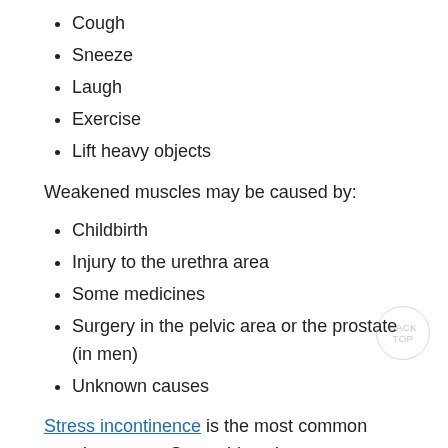Cough
Sneeze
Laugh
Exercise
Lift heavy objects
Weakened muscles may be caused by:
Childbirth
Injury to the urethra area
Some medicines
Surgery in the pelvic area or the prostate (in men)
Unknown causes
Stress incontinence is the most common type in women. Some things increase your risk, such as:
You have had more than one pregnancy and vaginal